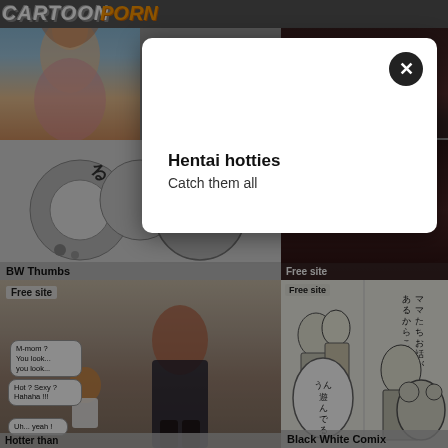CARTOON PORN
[Figure (illustration): Anime/hentai figure thumbnail top left]
[Figure (illustration): Dark themed thumbnail top right]
[Figure (illustration): Black and white manga style middle left with label BW Thumbs]
BW Thumbs
[Figure (illustration): Dark thumbnail middle right with label Cartoon Porn Captions]
Cartoon Porn Captions
[Figure (illustration): 3D comic panels bottom left with speech bubbles: M-mom? You look... you look... / Hot? Sexy? Hahaha!!! / Uh... yeah! / Hotter than]
Hotter than
[Figure (illustration): Black and white manga bottom right with Japanese text and label Black White Comix]
Black White Comix
Free site
Free site
Hentai hotties
Catch them all